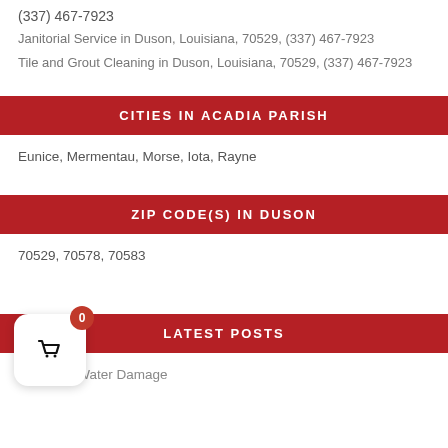(337) 467-7923
Janitorial Service in Duson, Louisiana, 70529, (337) 467-7923
Tile and Grout Cleaning in Duson, Louisiana, 70529, (337) 467-7923
CITIES IN ACADIA PARISH
Eunice, Mermentau, Morse, Iota, Rayne
ZIP CODE(S) IN DUSON
70529, 70578, 70583
LATEST POSTS
Services: Water Damage